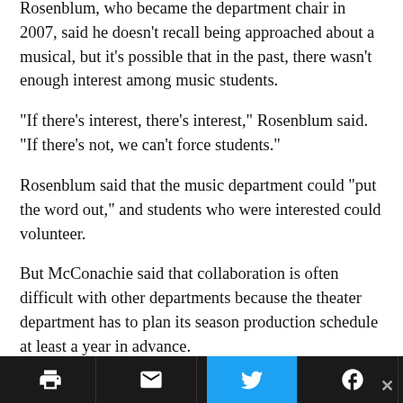Rosenblum, who became the department chair in 2007, said he doesn't recall being approached about a musical, but it's possible that in the past, there wasn't enough interest among music students.
“If there’s interest, there’s interest,” Rosenblum said. “If there’s not, we can’t force students.”
Rosenblum said that the music department could “put the word out,” and students who were interested could volunteer.
But McConachie said that collaboration is often difficult with other departments because the theater department has to plan its season production schedule at least a year in advance.
“That kind of planning is kind of hard for other